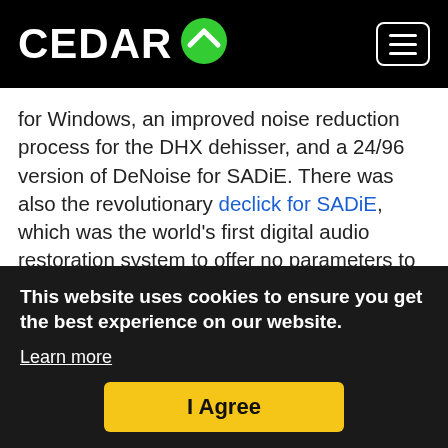CEDAR [logo]
The company concentrated on fundamental audio... for Windows, an improved noise reduction process for the DHX dehisser, and a 24/96 version of DeNoise for SADiE. There was also the revolutionary declick for SADiE, which was the world's first digital audio restoration system to offer no parameters to the end-user... all processing decisions being made by the algorithm itself.
In [year], we released CEDAR for Windows 2, which incorporated our latest algorithms, refined user interface and significantly more processes than the earlier version. At the same time, we released Series X+, a further development of the Series X
This website uses cookies to ensure you get the best experience on our website.
Learn more
I Agree